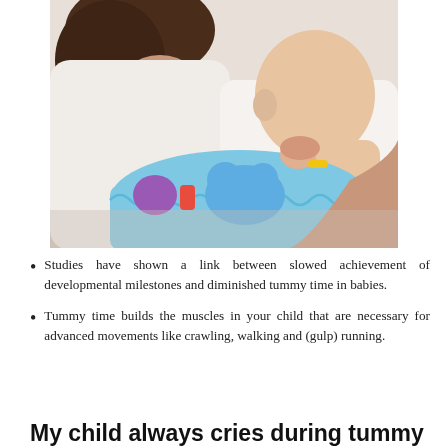[Figure (photo): A woman leaning over a baby doing tummy time on a blue blanket with colorful toys nearby]
Studies have shown a link between slowed achievement of developmental milestones and diminished tummy time in babies.
Tummy time builds the muscles in your child that are necessary for advanced movements like crawling, walking and (gulp) running.
My child always cries during tummy